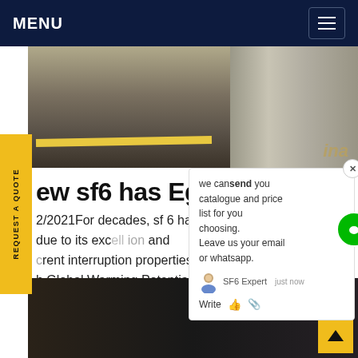MENU
[Figure (photo): Industrial SF6 gas cylinders or electrical equipment infrastructure, outdoor scene with yellow stripe on ground pavement. Partial text 'ina' visible.]
REQUEST A QUOTE
ew sf6 has Egypt
2/2021For decades, sf 6 has been [used in the] electrical industry due to its exc[ellent insulation] and [cur]rent interruption properties. How[ever, it has a h]igh Global Warming Potential (GWP) and [req]uiresGet price
[Figure (screenshot): Chat popup overlay showing message: 'we can send you catalogue and price list for you choosing. Leave us your email or whatsapp.' with SF6 Expert avatar, 'just now' timestamp, and Write field with thumbs up and attachment icons. Green chat circle icon with red badge showing '1'.]
[Figure (photo): Bottom strip showing dark industrial electrical equipment, high voltage infrastructure at night.]